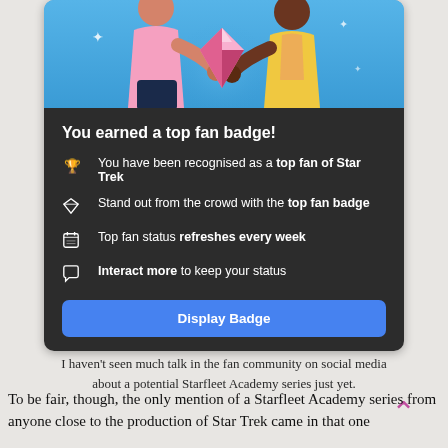[Figure (screenshot): Facebook Top Fan Badge notification card with illustration of two people holding a diamond, showing badge benefits and a Display Badge button]
I haven't seen much talk in the fan community on social media about a potential Starfleet Academy series just yet.
To be fair, though, the only mention of a Starfleet Academy series from anyone close to the production of Star Trek came in that one...